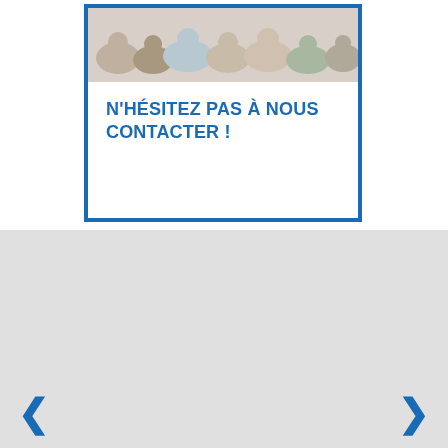[Figure (photo): Photo of cats and dogs grouped together on a white background, partially cropped at the top]
N'HÉSITEZ PAS À NOUS CONTACTER !
[Figure (other): Large light grey rectangular area, likely a carousel slide placeholder]
‹
›